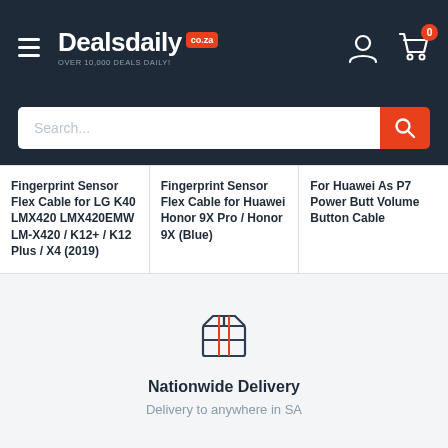Dealsdaily co.za — OVER 10,000 DEALS DAILY!
[Figure (screenshot): Search bar with placeholder text 'Search...' and orange search button]
Fingerprint Sensor Flex Cable for LG K40 LMX420 LMX420EMW LM-X420 / K12+ / K12 Plus / X4 (2019)
Fingerprint Sensor Flex Cable for Huawei Honor 9X Pro / Honor 9X (Blue)
For Huawei As P7 Power Butt Volume Button Cable
[Figure (illustration): Box/package delivery icon in outline style with orange accent lines]
Nationwide Delivery
Delivery to anywhere in SA
[Figure (illustration): Return/refund icon — shopping cart with return arrow, in orange outline style]